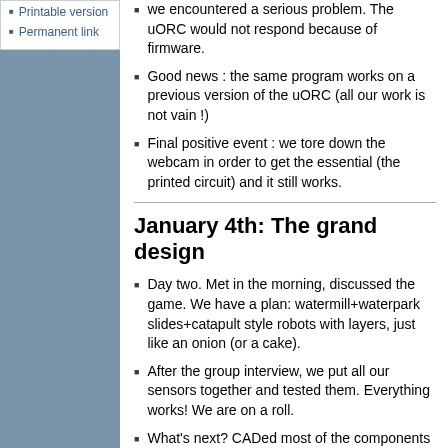Printable version
Permanent link
we encountered a serious problem. The uORC would not respond because of firmware.
Good news : the same program works on a previous version of the uORC (all our work is not vain !)
Final positive event : we tore down the webcam in order to get the essential (the printed circuit) and it still works.
January 4th: The grand design
Day two. Met in the morning, discussed the game. We have a plan: watermill+waterpark slides+catapult style robots with layers, just like an onion (or a cake).
After the group interview, we put all our sensors together and tested them. Everything works! We are on a roll.
What's next? CADed most of the components we have already today and will